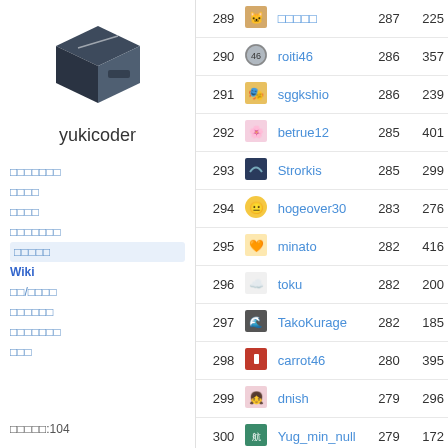[Figure (logo): yukicoder box logo - dark blue/grey 3D box icon]
yukicoder
ランキング
問題一覧
コンテスト
ユーザー一覧
ランキング (active)
Wiki
外部/ツール
テスター
ニュース一覧
更新
ユーザー数:104
| Rank | Avatar | User | Score | Score2 |
| --- | --- | --- | --- | --- |
| 289 |  | □□□□□ | 287 | 225 |
| 290 |  | roiti46 | 286 | 357 |
| 291 |  | sggkshio | 286 | 239 |
| 292 |  | betrue12 | 285 | 401 |
| 293 |  | Strorkis | 285 | 299 |
| 294 |  | hogeover30 | 283 | 276 |
| 295 |  | minato | 282 | 416 |
| 296 |  | toku | 282 | 200 |
| 297 |  | TakoKurage | 282 | 185 |
| 298 |  | carrot46 | 280 | 395 |
| 299 |  | dnish | 279 | 296 |
| 300 |  | Yug_min_null | 279 | 172 |